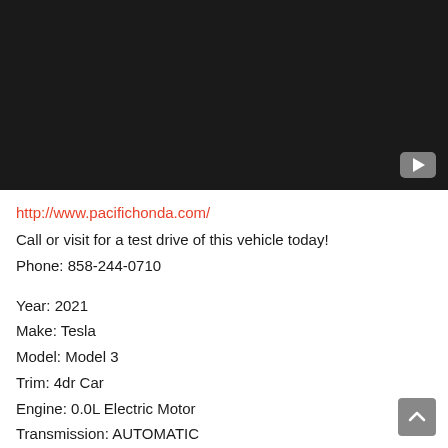[Figure (screenshot): Black video player area with a YouTube play button icon in the bottom-right corner]
http://www.pacifichonda.com/
Call or visit for a test drive of this vehicle today!
Phone: 858-244-0710
Year: 2021
Make: Tesla
Model: Model 3
Trim: 4dr Car
Engine: 0.0L Electric Motor
Transmission: AUTOMATIC
Color: GRAY